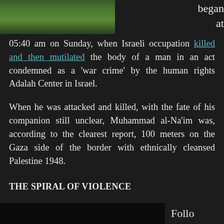[Figure (photo): Partial photograph showing green grass or vegetation, cropped at top of page]
began at 05:40 am on Sunday, when Israeli occupation killed and then mutilated the body of a man in an act condemned as a 'war crime' by the human rights Adalah Center in Israel.
When he was attacked and killed, with the fate of his companion still unclear, Muhammad al-Na'im was, according to the clearest report, 100 meters on the Gaza side of the border with ethnically cleansed Palestine 1948.
THE SPIRAL OF VIOLENCE
[Figure (photo): Partial dark/black photograph at bottom of page]
Follo